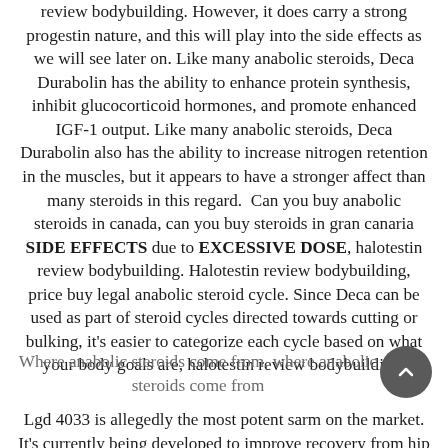review bodybuilding. However, it does carry a strong progestin nature, and this will play into the side effects as we will see later on. Like many anabolic steroids, Deca Durabolin has the ability to enhance protein synthesis, inhibit glucocorticoid hormones, and promote enhanced IGF-1 output. Like many anabolic steroids, Deca Durabolin also has the ability to increase nitrogen retention in the muscles, but it appears to have a stronger affect than many steroids in this regard.  Can you buy anabolic steroids in canada, can you buy steroids in gran canaria SIDE EFFECTS due to EXCESSIVE DOSE, halotestin review bodybuilding. Halotestin review bodybuilding, price buy legal anabolic steroid cycle. Since Deca can be used as part of steroid cycles directed towards cutting or bulking, it's easier to categorize each cycle based on what your body goals are, halotestin review bodybuilding.
Where anabolic steroids come from, where anabolic steroids come from
Lgd 4033 is allegedly the most potent sarm on the market. It's currently being developed to improve recovery from hip fractures, while its unofficial use remains popular among